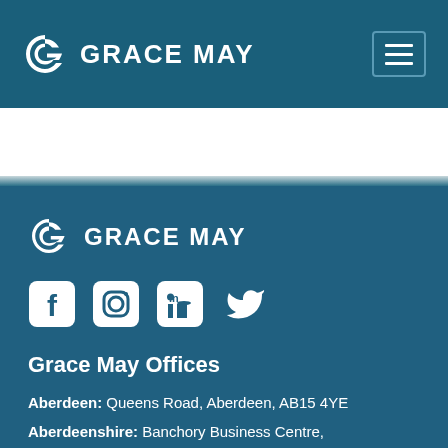GRACE MAY
[Figure (logo): Grace May company logo with swirl icon and hamburger menu button in teal header bar]
[Figure (logo): Grace May footer logo with swirl icon and social media icons (Facebook, Instagram, LinkedIn, Twitter)]
Grace May Offices
Aberdeen: Queens Road, Aberdeen, AB15 4YE
Aberdeenshire: Banchory Business Centre, Banchory, AB31 5ZU